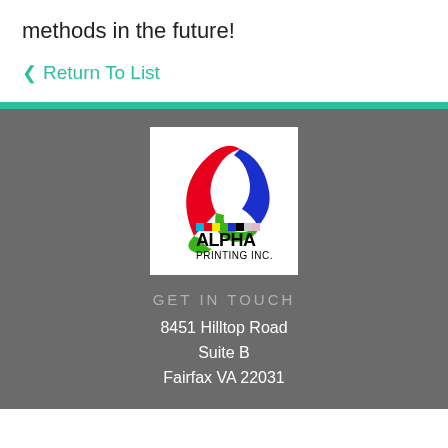methods in the future!
❮ Return To List
[Figure (logo): Alpha Printing Inc. logo — a triangular ribbon design in red, blue, and green above the text 'ALPHA PRINTING INC.' with colored print registration squares]
GET IN TOUCH
8451 Hilltop Road
Suite B
Fairfax VA 22031